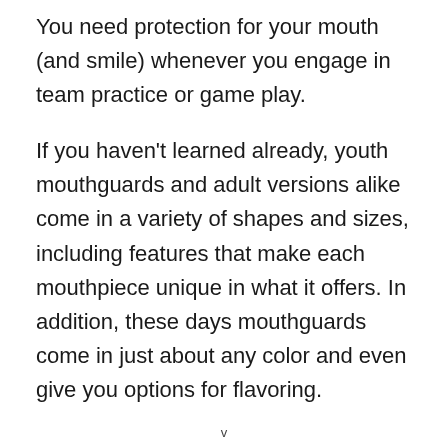You need protection for your mouth (and smile) whenever you engage in team practice or game play.
If you haven't learned already, youth mouthguards and adult versions alike come in a variety of shapes and sizes, including features that make each mouthpiece unique in what it offers. In addition, these days mouthguards come in just about any color and even give you options for flavoring.
v